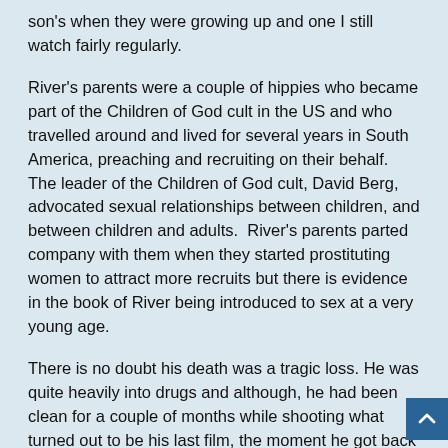son's when they were growing up and one I still watch fairly regularly.
River's parents were a couple of hippies who became part of the Children of God cult in the US and who travelled around and lived for several years in South America, preaching and recruiting on their behalf.  The leader of the Children of God cult, David Berg, advocated sexual relationships between children, and between children and adults.  River's parents parted company with them when they started prostituting women to attract more recruits but there is evidence in the book of River being introduced to sex at a very young age.
There is no doubt his death was a tragic loss. He was quite heavily into drugs and although, he had been clean for a couple of months while shooting what turned out to be his last film, the moment he got back to LA, he was straight back to the drugs.  How much of his drug use was a result of his upbringing, we can only guess at but the lack of education and involvement with the Children of God, I'm sure, played a part.
I never knew that he was interested in music but it turned out that he was more interested in making music than movies, and